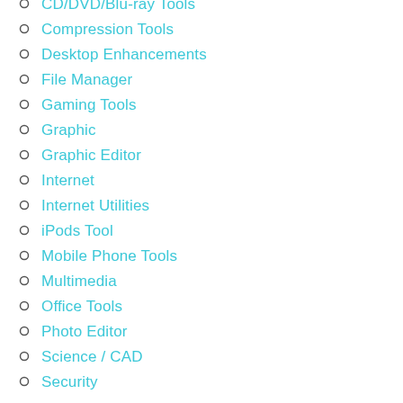CD/DVD/Blu-ray Tools
Compression Tools
Desktop Enhancements
File Manager
Gaming Tools
Graphic
Graphic Editor
Internet
Internet Utilities
iPods Tool
Mobile Phone Tools
Multimedia
Office Tools
Photo Editor
Science / CAD
Security